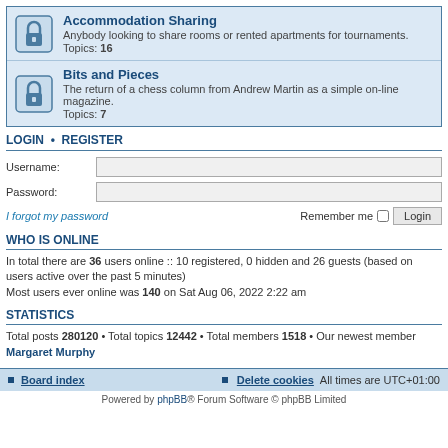Accommodation Sharing - Anybody looking to share rooms or rented apartments for tournaments. Topics: 16
Bits and Pieces - The return of a chess column from Andrew Martin as a simple on-line magazine. Topics: 7
LOGIN • REGISTER
Username:
Password:
I forgot my password  Remember me  Login
WHO IS ONLINE
In total there are 36 users online :: 10 registered, 0 hidden and 26 guests (based on users active over the past 5 minutes)
Most users ever online was 140 on Sat Aug 06, 2022 2:22 am
STATISTICS
Total posts 280120 • Total topics 12442 • Total members 1518 • Our newest member Margaret Murphy
Board index  Delete cookies  All times are UTC+01:00
Powered by phpBB® Forum Software © phpBB Limited